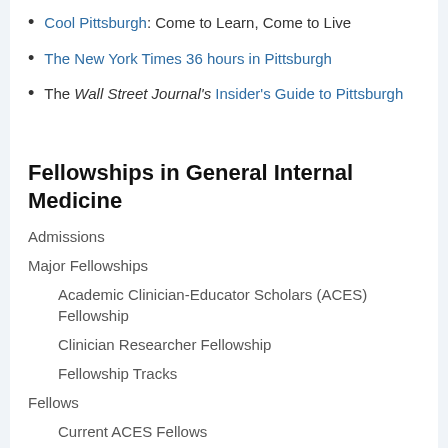Cool Pittsburgh: Come to Learn, Come to Live
The New York Times 36 hours in Pittsburgh
The Wall Street Journal's Insider's Guide to Pittsburgh
Fellowships in General Internal Medicine
Admissions
Major Fellowships
Academic Clinician-Educator Scholars (ACES) Fellowship
Clinician Researcher Fellowship
Fellowship Tracks
Fellows
Current ACES Fellows
Current Clinician-Researcher Fellows